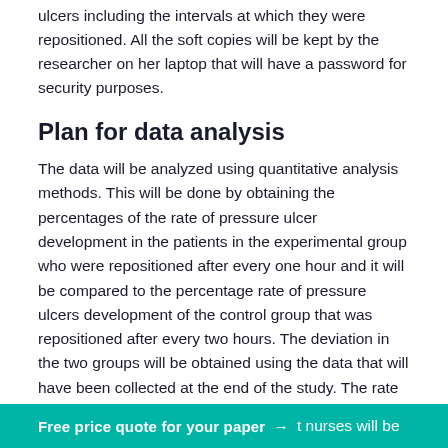ulcers including the intervals at which they were repositioned. All the soft copies will be kept by the researcher on her laptop that will have a password for security purposes.
Plan for data analysis
The data will be analyzed using quantitative analysis methods. This will be done by obtaining the percentages of the rate of pressure ulcer development in the patients in the experimental group who were repositioned after every one hour and it will be compared to the percentage rate of pressure ulcers development of the control group that was repositioned after every two hours. The deviation in the two groups will be obtained using the data that will have been collected at the end of the study. The rate of pressure ulcer development will be shown in a curve that will represent the two groups using
t nurses will be
Free price quote for your paper →